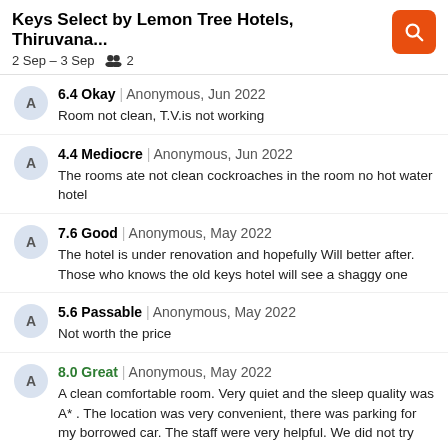Keys Select by Lemon Tree Hotels, Thiruvana... | 2 Sep – 3 Sep | 2 guests
6.4 Okay | Anonymous, Jun 2022 — Room not clean, T.V.is not working
4.4 Mediocre | Anonymous, Jun 2022 — The rooms ate not clean cockroaches in the room no hot water hotel
7.6 Good | Anonymous, May 2022 — The hotel is under renovation and hopefully Will better after. Those who knows the old keys hotel will see a shaggy one
5.6 Passable | Anonymous, May 2022 — Not worth the price
8.0 Great | Anonymous, May 2022 — A clean comfortable room. Very quiet and the sleep quality was A*. The location was very convenient, there was parking for my borrowed car. The staff were very helpful. We did not try out the restaurant. What could have been nicer : shower gel in the bathroom, a little more care and attention to the ...